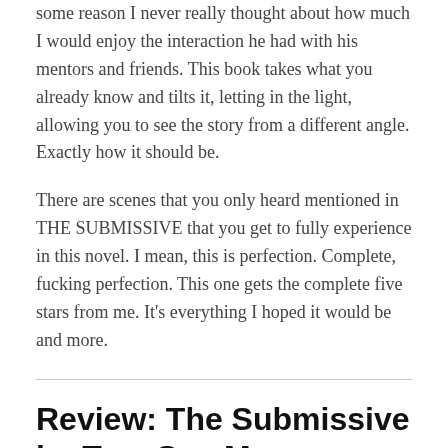some reason I never really thought about how much I would enjoy the interaction he had with his mentors and friends. This book takes what you already know and tilts it, letting in the light, allowing you to see the story from a different angle. Exactly how it should be.
There are scenes that you only heard mentioned in THE SUBMISSIVE that you get to fully experience in this novel. I mean, this is perfection. Complete, fucking perfection. This one gets the complete five stars from me. It's everything I hoped it would be and more.
Review: The Submissive by Tara Sue Me
JULY 28, 2015 / 0 COMMENTS